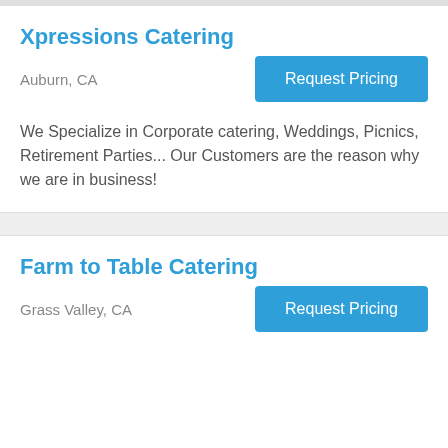Xpressions Catering
Auburn, CA
We Specialize in Corporate catering, Weddings, Picnics, Retirement Parties... Our Customers are the reason why we are in business!
Farm to Table Catering
Grass Valley, CA